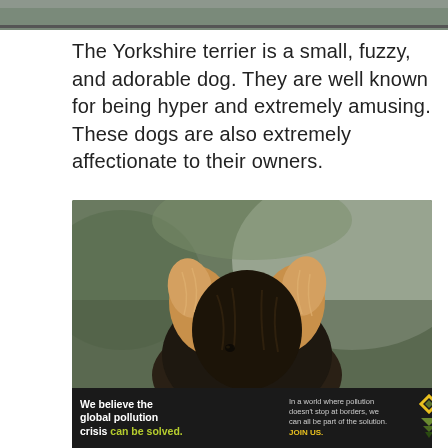[Figure (photo): Top portion of a previous photo, partially cropped — dark/gray strip visible at top of page]
The Yorkshire terrier is a small, fuzzy, and adorable dog. They are well known for being hyper and extremely amusing. These dogs are also extremely affectionate to their owners.
[Figure (photo): Close-up photo of a Yorkshire terrier puppy seen from behind/above, showing its fluffy tan and dark fur with pointed ears, against a blurred green and gray background. Watermark text partially visible at bottom right.]
[Figure (other): Pure Earth advertisement banner. Left: bold white text 'We believe the global pollution crisis can be solved.' with 'can be solved.' in yellow-green. Middle: small white text 'In a world where pollution doesn't stop at borders, we can all be part of the solution.' with 'JOIN US.' in yellow. Right: Pure Earth logo with diamond/triangle icon and 'PURE EARTH' in white bold text.]